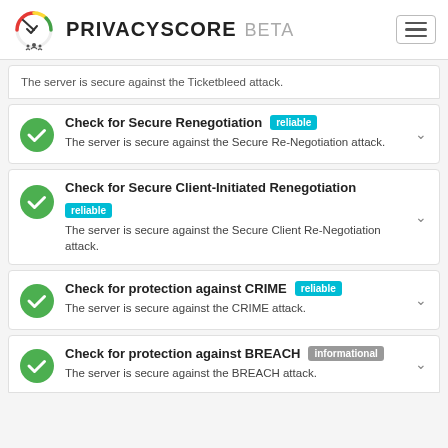PRIVACYSCORE BETA
The server is secure against the Ticketbleed attack.
Check for Secure Renegotiation
The server is secure against the Secure Re-Negotiation attack.
Check for Secure Client-Initiated Renegotiation
The server is secure against the Secure Client Re-Negotiation attack.
Check for protection against CRIME
The server is secure against the CRIME attack.
Check for protection against BREACH
The server is secure against the BREACH attack.